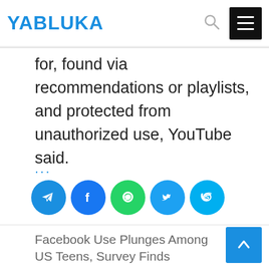YABLUKA
for, found via recommendations or playlists, and protected from unauthorized use, YouTube said.
...
[Figure (infographic): Row of 5 social media share buttons: Telegram (blue), Facebook (blue), WhatsApp (green), Twitter (blue), Skype (light blue)]
Facebook Use Plunges Among US Teens, Survey Finds